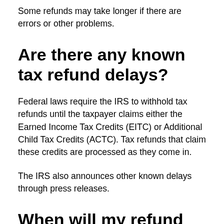Some refunds may take longer if there are errors or other problems.
Are there any known tax refund delays?
Federal laws require the IRS to withhold tax refunds until the taxpayer claims either the Earned Income Tax Credits (EITC) or Additional Child Tax Credits (ACTC). Tax refunds that claim these credits are processed as they come in.
The IRS also announces other known delays through press releases.
When will my refund be in my